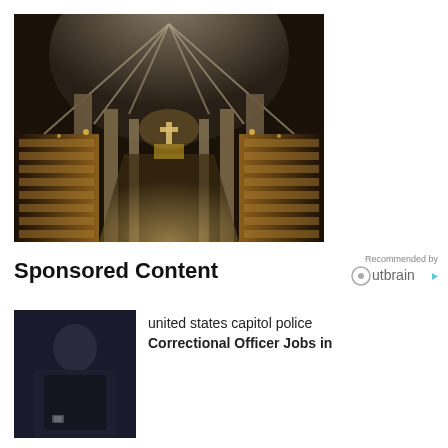[Figure (photo): Interior of a grand cathedral with vaulted ceiling, tall columns, wooden choir stalls on both sides, and an altar at the far end]
Sponsored Content
[Figure (logo): Outbrain logo with 'Recommended by' text above]
[Figure (photo): Person in dark clothing, partial view, sponsored content thumbnail]
united states capitol police Correctional Officer Jobs in